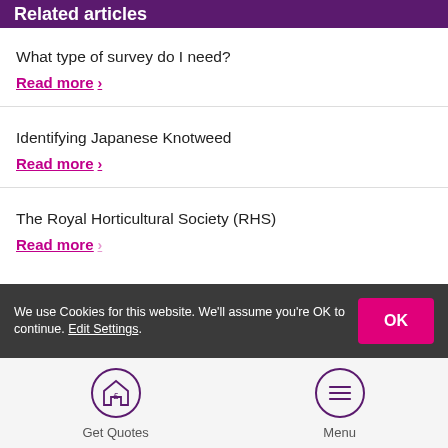Related articles
What type of survey do I need?
Read more >
Identifying Japanese Knotweed
Read more >
The Royal Horticultural Society (RHS)
Read more >
We use Cookies for this website. We'll assume you're OK to continue. Edit Settings.
Get Quotes
Menu